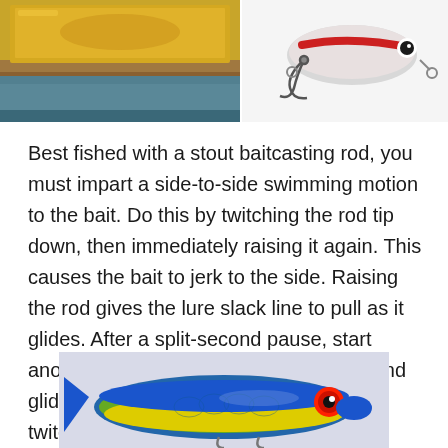[Figure (photo): Photo of a fishing lure in a yellow/golden box with blue/teal water background below]
[Figure (photo): Close-up photo of a fishing lure/jig with hooks on white background]
Best fished with a stout baitcasting rod, you must impart a side-to-side swimming motion to the bait. Do this by twitching the rod tip down, then immediately raising it again. This causes the bait to jerk to the side. Raising the rod gives the lure slack line to pull as it glides. After a split-second pause, start another twitch to cause the bait to turn and glide in the other direction. Continuous twitching results in side-to-side surface motion that causes a lot of commotion. The sight is often too much for pike to pass up.
[Figure (photo): Photo of a colorful fishing lure (blue, green, yellow with red eye) on light background, partially cropped at bottom of page]